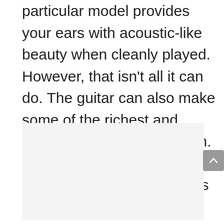particular model provides your ears with acoustic-like beauty when cleanly played. However, that isn't all it can do. The guitar can also make some of the richest and biggest tones with distortion. Therefore, it is certainly one of the most versatile options on the market.
[Figure (other): A light gray rectangular placeholder area, likely an image region below the text content.]